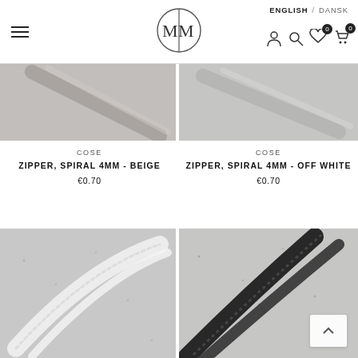ENGLISH / DANSK — MM logo — navigation icons
[Figure (photo): Top portion of two product images cut off at top: zipper beige (left) and zipper off-white (right) on grey concrete background]
COSE
ZIPPER, SPIRAL 4MM - BEIGE
€0.70
COSE
ZIPPER, SPIRAL 4MM - OFF WHITE
€0.70
[Figure (photo): White zipper on grey concrete background]
[Figure (photo): Black zipper on grey concrete background with back-to-top button overlay]